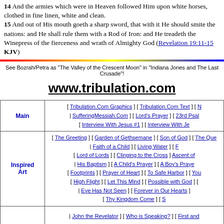14 And the armies which were in Heaven followed Him upon white horses, clothed in fine linen, white and clean. 15 And out of His mouth goeth a sharp sword, that with it He should smite the nations: and He shall rule them with a Rod of Iron: and He treadeth the Winepress of the fierceness and wrath of Almighty God (Revelation 19:11-15 KJV)
See Bozrah/Petra as "The Valley of the Crescent Moon" in "Indiana Jones and The Last Crusade"!
www.tribulation.com
|  | Links |
| --- | --- |
| Main | [ Tribulation.Com Graphics ] [ Tribulation.Com Text ] [ ... | SufferingMessiah.Com ] [ Lord's Prayer ] [ 23rd Psalm... | Interview With Jesus #1 ] [ Interview With Jesus... |
| Inspired Art | [ The Greeting ] [ Garden of Gethsemane ] [ Son of God ] [ The Que... | Faith of a Child ] [ Living Water ] [ F... | Lord of Lords ] [ Clinging to the Cross ] [ Ascent of... | His Baptism ] [ A Child's Prayer ] [ A Boy's Praye... | Footprints ] [ Prayer of Heart ] [ To Safe Harbor ] [ You... | High Flight ] [ Let This Mind ] [ Possible with God ] [...  | Eye Has Not Seen ] [ Forever in Our Hearts ] [... | Thy Kingdom Come ] [ S... |
|  | [ John the Revelator ] [ Who is Speaking? ] [ First and... |